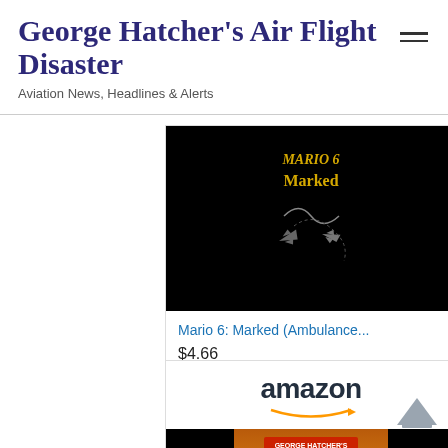George Hatcher's Air Flight Disaster
Aviation News, Headlines & Alerts
[Figure (screenshot): Book cover for Mario 6: Marked - black cover with airplane silhouette and cursive text]
Mario 6: Marked (Ambulance...
$4.66
[Figure (logo): Amazon logo with Shop now button in gold/yellow]
[Figure (logo): Amazon logo with arrow]
[Figure (screenshot): Book cover for Mario 5: Afire - orange/sunset cover with silhouettes of people]
Mario 5: Afire